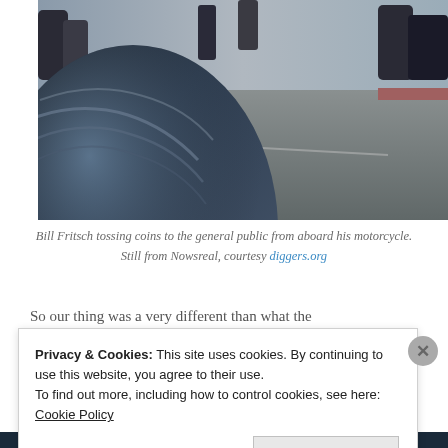[Figure (photo): A close-up photograph showing a large tire or wheel on a motorcycle, with people and a street visible in the background. The image appears to be a vintage or film still.]
Bill Fritsch tossing coins to the general public from aboard his motorcycle. Still from Nowsreal, courtesy diggers.org
So...our thing was a very different than what the...
Privacy & Cookies: This site uses cookies. By continuing to use this website, you agree to their use. To find out more, including how to control cookies, see here: Cookie Policy
Close and accept